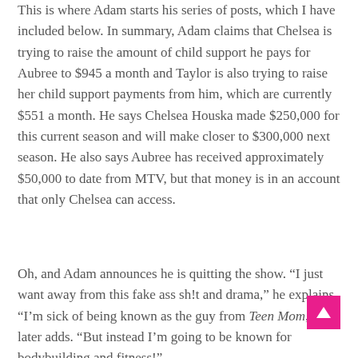This is where Adam starts his series of posts, which I have included below. In summary, Adam claims that Chelsea is trying to raise the amount of child support he pays for Aubree to $945 a month and Taylor is also trying to raise her child support payments from him, which are currently $551 a month. He says Chelsea Houska made $250,000 for this current season and will make closer to $300,000 next season. He also says Aubree has received approximately $50,000 to date from MTV, but that money is in an account that only Chelsea can access.
Oh, and Adam announces he is quitting the show. “I just want away from this fake ass sh!t and drama,” he explains. “I’m sick of being known as the guy from Teen Mom,” he later adds. “But instead I’m going to be known for bodybuilding and fitness!”